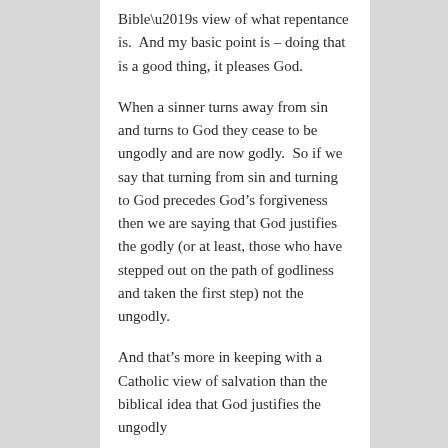Bible’s view of what repentance is.  And my basic point is – doing that is a good thing, it pleases God.
When a sinner turns away from sin and turns to God they cease to be ungodly and are now godly.  So if we say that turning from sin and turning to God precedes God’s forgiveness then we are saying that God justifies the godly (or at least, those who have stepped out on the path of godliness and taken the first step) not the ungodly.
And that’s more in keeping with a Catholic view of salvation than the biblical idea that God justifies the ungodly